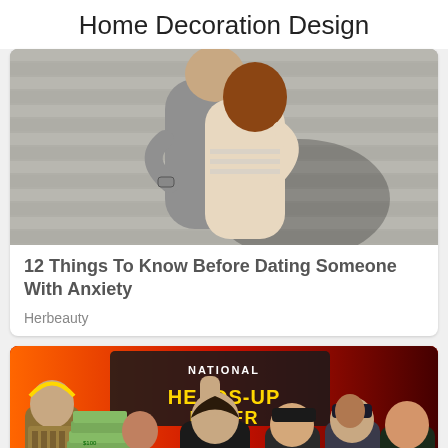Home Decoration Design
[Figure (photo): Two people hugging against a striped wall background, black and white/muted tones]
12 Things To Know Before Dating Someone With Anxiety
Herbeauty
[Figure (photo): Group of people at National Heads-Up Poker championship event, woman in center raising fist, person in gladiator costume holding stacks of cash on left, red background with game show signage]